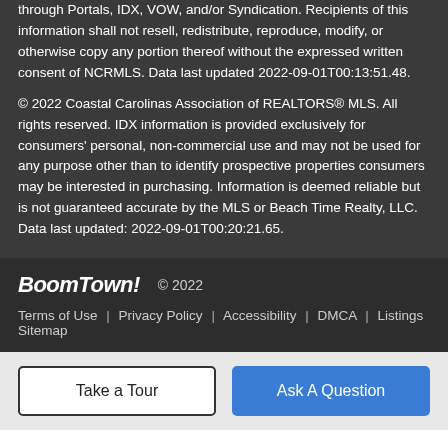through Portals, IDX, VOW, and/or Syndication. Recipients of this information shall not resell, redistribute, reproduce, modify, or otherwise copy any portion thereof without the expressed written consent of NCRMLS. Data last updated 2022-09-01T00:13:51.48.
© 2022 Coastal Carolinas Association of REALTORS® MLS. All rights reserved. IDX information is provided exclusively for consumers' personal, non-commercial use and may not be used for any purpose other than to identify prospective properties consumers may be interested in purchasing. Information is deemed reliable but is not guaranteed accurate by the MLS or Beach Time Realty, LLC. Data last updated: 2022-09-01T00:20:21.65.
BoomTown! © 2022 | Terms of Use | Privacy Policy | Accessibility | DMCA | Listings Sitemap
Take a Tour   Ask A Question